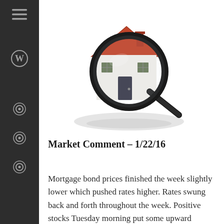[Figure (photo): A miniature white house with a red roof being examined through a large magnifying glass, with a shadow/reflection visible below, on a white background.]
Market Comment – 1/22/16
Mortgage bond prices finished the week slightly lower which pushed rates higher. Rates swung back and forth throughout the week. Positive stocks Tuesday morning put some upward